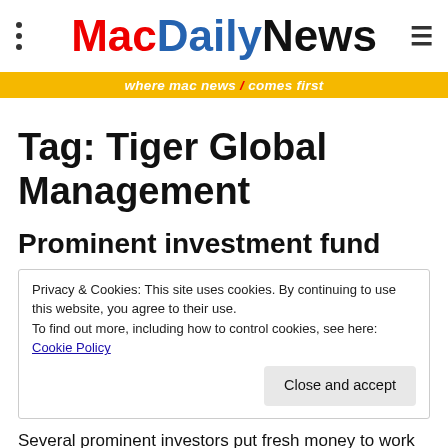MacDailyNews — where mac news comes first
Tag: Tiger Global Management
Prominent investment fund
Privacy & Cookies: This site uses cookies. By continuing to use this website, you agree to their use.
To find out more, including how to control cookies, see here: Cookie Policy
Close and accept
Several prominent investors put fresh money to work